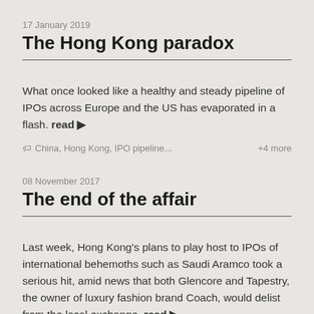17 January 2019
The Hong Kong paradox
What once looked like a healthy and steady pipeline of IPOs across Europe and the US has evaporated in a flash. read ▶
🏷 China, Hong Kong, IPO pipeline...   +4 more
08 November 2017
The end of the affair
Last week, Hong Kong's plans to play host to IPOs of international behemoths such as Saudi Aramco took a serious hit, amid news that both Glencore and Tapestry, the owner of luxury fashion brand Coach, would delist from the local exchange. read ▶